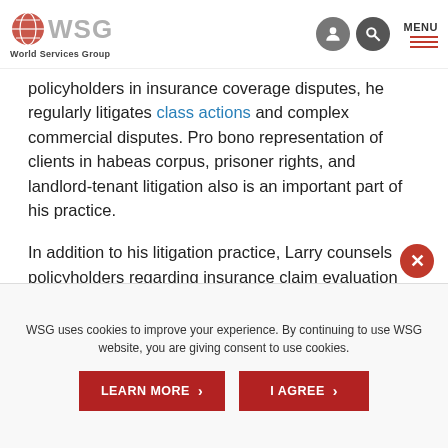WSG World Services Group
represented clients in federal and state courts throughout the United States in a broad range of cases. In addition to representing policyholders in insurance coverage disputes, he regularly litigates class actions and complex commercial disputes. Pro bono representation of clients in habeas corpus, prisoner rights, and landlord-tenant litigation also is an important part of his practice.
In addition to his litigation practice, Larry counsels policyholders regarding insurance claim evaluation and strategy, policy placement and manuscripting issues, and recovery of insurance proceeds under
WSG uses cookies to improve your experience. By continuing to use WSG website, you are giving consent to use cookies.